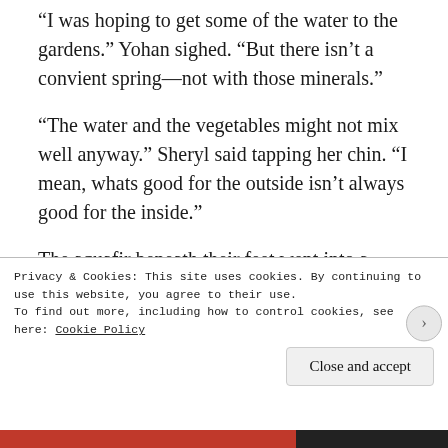“I was hoping to get some of the water to the gardens.” Yohan sighed. “But there isn’t a convient spring—not with those minerals.”
“The water and the vegetables might not mix well anyway.” Sheryl said tapping her chin. “I mean, whats good for the outside isn’t always good for the inside.”
The aquafir beneath their feet went into a number of local springs—with some effort and piping, the water was funneled into baths and fountains. A rare, dare Yohan say it, unique mixture of minerals was
Privacy & Cookies: This site uses cookies. By continuing to use this website, you agree to their use.
To find out more, including how to control cookies, see here: Cookie Policy
Close and accept